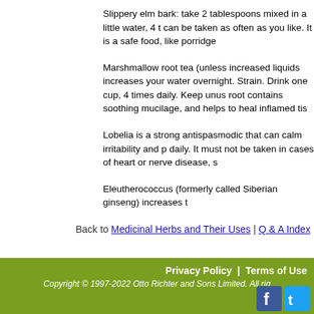Slippery elm bark: take 2 tablespoons mixed in a little water, 4 t... can be taken as often as you like. It is a safe food, like porridge...
Marshmallow root tea (unless increased liquids increases your... water overnight. Strain. Drink one cup, 4 times daily. Keep unus... root contains soothing mucilage, and helps to heal inflamed tis...
Lobelia is a strong antispasmodic that can calm irritability and p... daily. It must not be taken in cases of heart or nerve disease, s...
Eleutherococcus (formerly called Siberian ginseng) increases t...
Back to Medicinal Herbs and Their Uses | Q & A Index
Privacy Policy | Terms of Use Copyright © 1997-2022 Otto Richter and Sons Limited. All rights reserved.